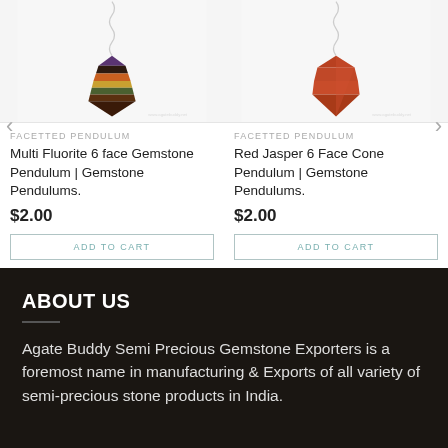[Figure (photo): Multi Fluorite 6 face Gemstone Pendulum hanging from a chain, cone-shaped with multicolored stripes (purple, orange, yellow, green, brown) on white background with watermark www.agatebuddy.net]
FACETTED PENDULUM
Multi Fluorite 6 face Gemstone Pendulum | Gemstone Pendulums.
$2.00
ADD TO CART
[Figure (photo): Red Jasper 6 Face Cone Pendulum hanging from a chain, cone-shaped in terracotta/red-brown color on white background with watermark www.agatebuddy.net]
FACETTED PENDULUM
Red Jasper 6 Face Cone Pendulum | Gemstone Pendulums.
$2.00
ADD TO CART
ABOUT US
Agate Buddy Semi Precious Gemstone Exporters is a foremost name in manufacturing & Exports of all variety of semi-precious stone products in India.